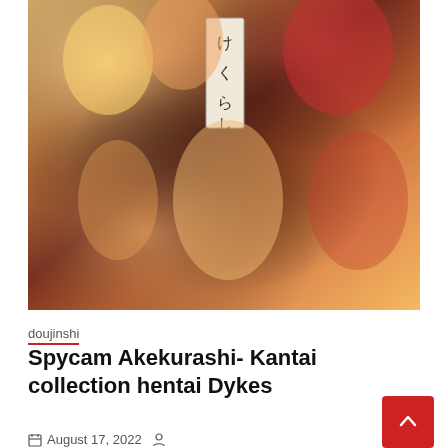[Figure (illustration): Anime/manga style illustration showing multiple anime characters in a group scene with warm orange and brown tones. Japanese text visible on a sign/panel in the upper center area reading けくらし.]
doujinshi
Spycam Akekurashi- Kantai collection hentai Dykes
August 17, 2022